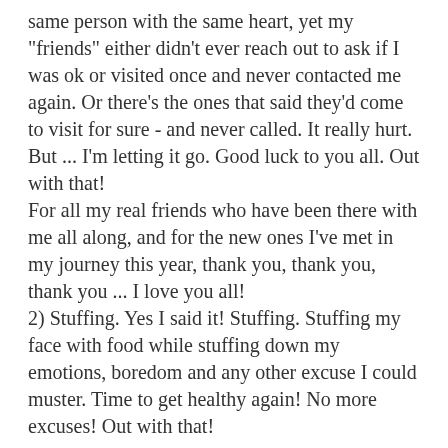same person with the same heart, yet my "friends" either didn't ever reach out to ask if I was ok or visited once and never contacted me again.  Or there's the ones that said they'd come to visit for sure - and never called.  It really hurt.  But ... I'm letting it go.  Good luck to you all.  Out with that!
For all my real friends who have been there with me all along, and for the new ones I've met in my journey this year, thank you, thank you, thank you ... I love you all!
2)  Stuffing. Yes I said it!  Stuffing.  Stuffing my face with food while stuffing down my emotions, boredom and any other excuse I could muster.  Time to get healthy again!  No more excuses!  Out with that!